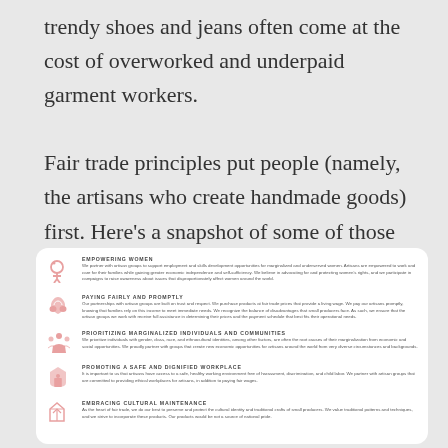trendy shoes and jeans often come at the cost of overworked and underpaid garment workers.

Fair trade principles put people (namely, the artisans who create handmade goods) first. Here's a snapshot of some of those values:
[Figure (infographic): Infographic card showing five fair trade values with icons and descriptions: Empowering Women, Paying Fairly and Promptly, Prioritizing Marginalized Individuals and Communities, Promoting a Safe and Dignified Workplace, Embracing Cultural Maintenance.]